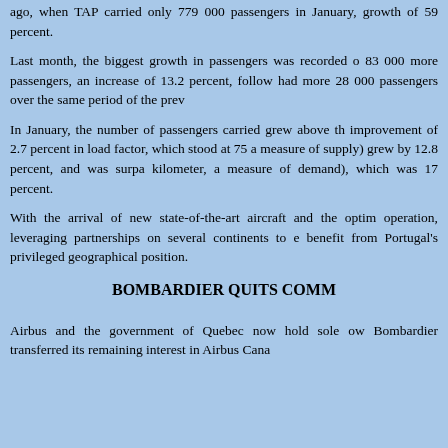ago, when TAP carried only 779 000 passengers in January, growth of 59 percent.
Last month, the biggest growth in passengers was recorded on 83 000 more passengers, an increase of 13.2 percent, follow had more 28 000 passengers over the same period of the prev
In January, the number of passengers carried grew above the improvement of 2.7 percent in load factor, which stood at 75 a measure of supply) grew by 12.8 percent, and was surpas kilometer, a measure of demand), which was 17 percent.
With the arrival of new state-of-the-art aircraft and the optim operation, leveraging partnerships on several continents to e benefit from Portugal's privileged geographical position.
BOMBARDIER QUITS COMM
Airbus and the government of Quebec now hold sole ow Bombardier transferred its remaining interest in Airbus Cana